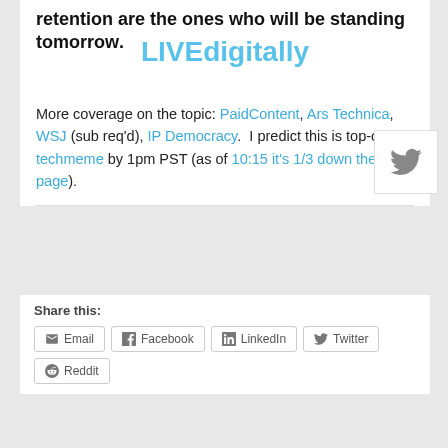retention are the ones who will be standing tomorrow.
[Figure (logo): LIVEdigitally watermark text in light blue overlaid on the content]
More coverage on the topic: PaidContent, Ars Technica, WSJ (sub req'd), IP Democracy. I predict this is top-of-techmeme by 1pm PST (as of 10:15 it's 1/3 down the page).
[Figure (logo): Twitter bird icon badge in grey box on the right side]
Share this:
Email | Facebook | LinkedIn | Twitter | Reddit
POSTED IN VIDEO/MUSIC/MEDIA | 2 COMMENTS
« One Million Words Served
Thoughts on Blogging Frequency »
[Figure (infographic): Social sharing bar at bottom with Facebook, Twitter, LinkedIn, Google+, Email, and another icon. 'Shares' label on left.]